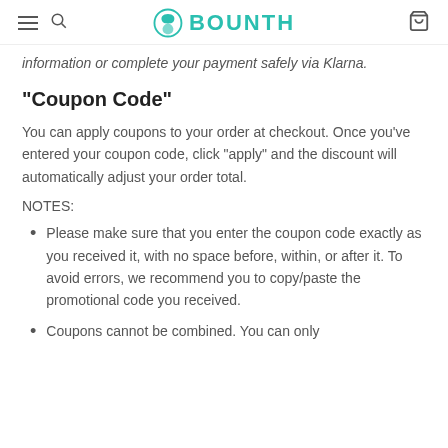BOUNTH
information or complete your payment safely via Klarna.
"Coupon Code"
You can apply coupons to your order at checkout. Once you've entered your coupon code, click "apply" and the discount will automatically adjust your order total.
NOTES:
Please make sure that you enter the coupon code exactly as you received it, with no space before, within, or after it. To avoid errors, we recommend you to copy/paste the promotional code you received.
Coupons cannot be combined. You can only